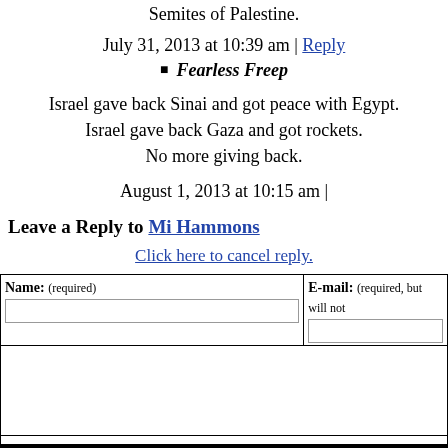Semites of Palestine.
July 31, 2013 at 10:39 am | Reply
Fearless Freep
Israel gave back Sinai and got peace with Egypt.
Israel gave back Gaza and got rockets.
No more giving back.
August 1, 2013 at 10:15 am |
Leave a Reply to Mi Hammons
Click here to cancel reply.
Name: (required)   E-mail: (required, but will not
CNN welcomes a lively and courteous discussion as long as you follow the Rules our Terms of Service. Comments are not pre-screened before they post. You agree may be used, along with your name and profile picture, in accordance with our Pri license you have granted pursuant to our Terms of Service.